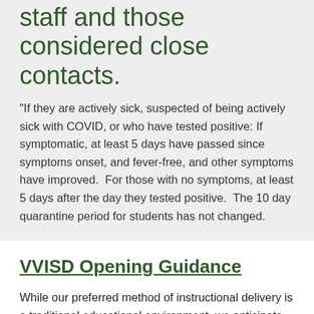staff and those considered close contacts.
"If they are actively sick, suspected of being actively sick with COVID, or who have tested positive: If symptomatic, at least 5 days have passed since symptoms onset, and fever-free, and other symptoms have improved.  For those with no symptoms, at least 5 days after the day they tested positive.  The 10 day quarantine period for students has not changed.
VVISD Opening Guidance
While our preferred method of instructional delivery is a traditional educational environment, we anticipate that continued public health restrictions will be in place when school resumes in the fall. Our objective is to provide in-